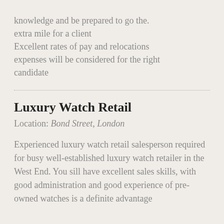knowledge and be prepared to go the. extra mile for a client Excellent rates of pay and relocations expenses will be considered for the right candidate
Luxury Watch Retail
Location: Bond Street, London
Experienced luxury watch retail salesperson required for busy well-established luxury watch retailer in the West End. You sill have excellent sales skills, with good administration and good experience of pre-owned watches is a definite advantage